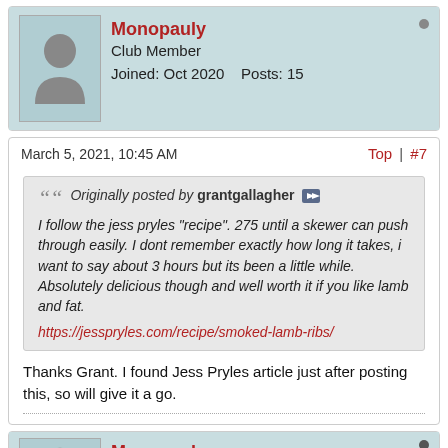[Figure (illustration): User avatar placeholder icon (grey silhouette on light blue background)]
Monopauly
Club Member
Joined: Oct 2020    Posts: 15
March 5, 2021, 10:45 AM
Top | #7
Originally posted by grantgallagher
I follow the jess pryles "recipe". 275 until a skewer can push through easily. I dont remember exactly how long it takes, i want to say about 3 hours but its been a little while. Absolutely delicious though and well worth it if you like lamb and fat.
https://jesspryles.com/recipe/smoked-lamb-ribs/
Thanks Grant. I found Jess Pryles article just after posting this, so will give it a go.
[Figure (illustration): User avatar placeholder icon (grey silhouette on light blue background)]
Monopauly
Club Member